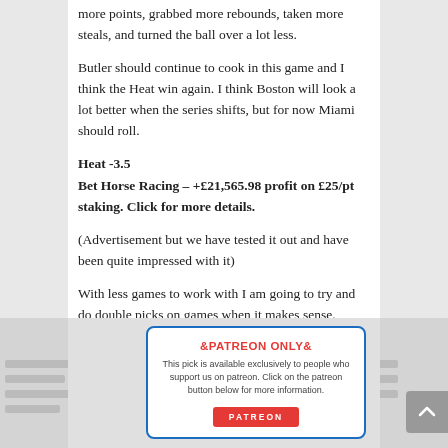more points, grabbed more rebounds, taken more steals, and turned the ball over a lot less.
Butler should continue to cook in this game and I think the Heat win again. I think Boston will look a lot better when the series shifts, but for now Miami should roll.
Heat -3.5
Bet Horse Racing – +£21,565.98 profit on £25/pt staking. Click for more details.
(Advertisement but we have tested it out and have been quite impressed with it)
With less games to work with I am going to try and do double picks on games when it makes sense. Tonight, it makes sense.
[Figure (infographic): Patreon-only content box with blue border, red PATREON ONLY header, description text, and red PATREON button. Blurred background content visible on sides.]